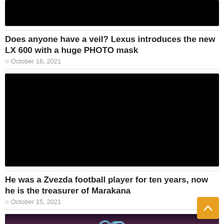[Figure (photo): Black/dark image at top of page, partially cropped]
Does anyone have a veil? Lexus introduces the new LX 600 with a huge PHOTO mask
October 16, 2021
[Figure (photo): Large black image / dark photo]
He was a Zvezda football player for ten years, now he is the treasurer of Marakana
October 15, 2021
[Figure (photo): Apple logo glowing neon over mountain lake landscape at dusk]